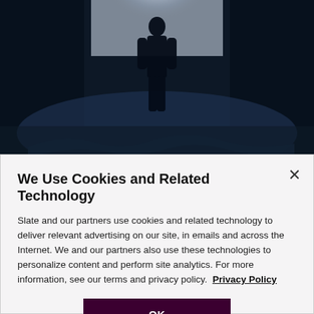[Figure (photo): Dark blue-toned photograph of a silhouetted figure standing near a bright window with rumpled bedclothes in foreground]
Animation by Lisa Larson-Walker. Photo by JoséMa Orsini/Flickr Creative
We Use Cookies and Related Technology
Slate and our partners use cookies and related technology to deliver relevant advertising on our site, in emails and across the Internet. We and our partners also use these technologies to personalize content and perform site analytics. For more information, see our terms and privacy policy.  Privacy Policy
OK